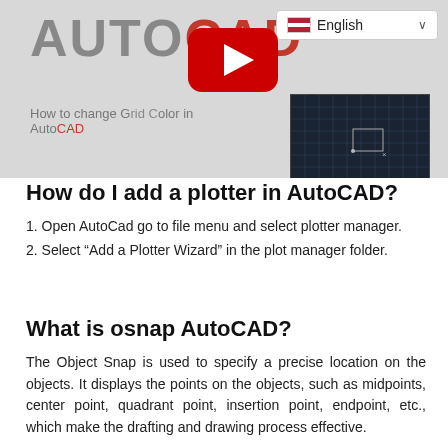[Figure (screenshot): AutoCAD website screenshot with YouTube play button overlay, English language dropdown, subtitle 'How to change Grid Color in AutoCAD', and dark AutoCAD interface preview thumbnail]
How do I add a plotter in AutoCAD?
1. Open AutoCad go to file menu and select plotter manager.
2. Select “Add a Plotter Wizard” in the plot manager folder.
What is osnap AutoCAD?
The Object Snap is used to specify a precise location on the objects. It displays the points on the objects, such as midpoints, center point, quadrant point, insertion point, endpoint, etc., which make the drafting and drawing process effective.